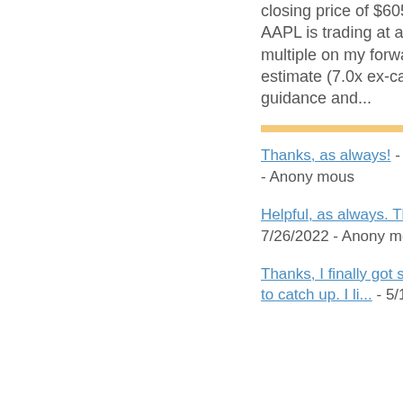closing price of $605.88, AAPL is trading at a 8.9 multiple on my forward EPS estimate (7.0x ex-cash). For guidance and...
Thanks, as always! - 7/27/2022 - Anonymous
Helpful, as always. Thanks. - 7/26/2022 - Anonymous
Thanks, I finally got some time to catch up. I li... - 5/16/202...